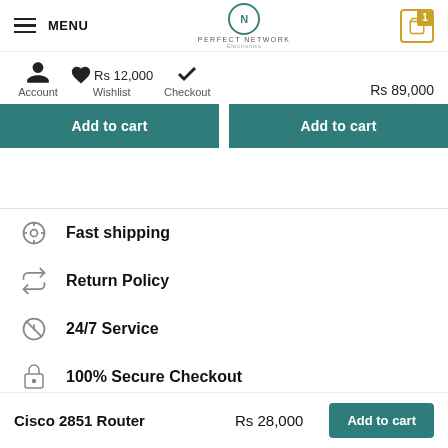MENU | PERFECT NETWORK | Cart: 1
Rs 12,000   ✓   Rs 89,000
Account   Wishlist   Checkout
Add to cart
Add to cart
Fast shipping
Return Policy
24/7 Service
100% Secure Checkout
Cisco 2851 Router   Rs 28,000   Add to cart